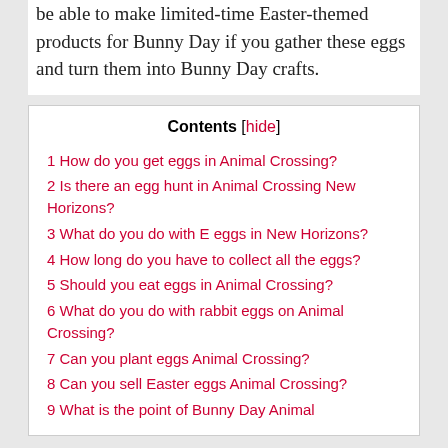be able to make limited-time Easter-themed products for Bunny Day if you gather these eggs and turn them into Bunny Day crafts.
1 How do you get eggs in Animal Crossing?
2 Is there an egg hunt in Animal Crossing New Horizons?
3 What do you do with E eggs in New Horizons?
4 How long do you have to collect all the eggs?
5 Should you eat eggs in Animal Crossing?
6 What do you do with rabbit eggs on Animal Crossing?
7 Can you plant eggs Animal Crossing?
8 Can you sell Easter eggs Animal Crossing?
9 What is the point of Bunny Day Animal